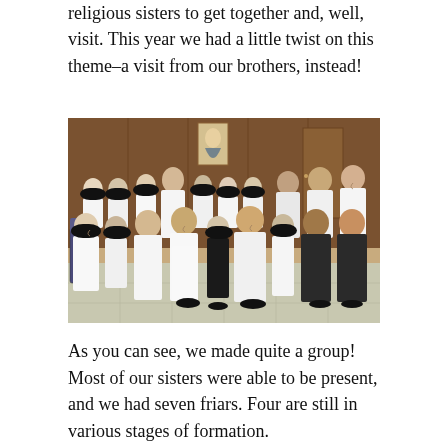religious sisters to get together and, well, visit. This year we had a little twist on this theme–a visit from our brothers, instead!
[Figure (photo): Group photo of religious sisters and friars wearing white habits, seated and standing in rows inside a wood-paneled room with a painting of Our Lady of Guadalupe visible on the wall in the background.]
As you can see, we made quite a group! Most of our sisters were able to be present, and we had seven friars. Four are still in various stages of formation.